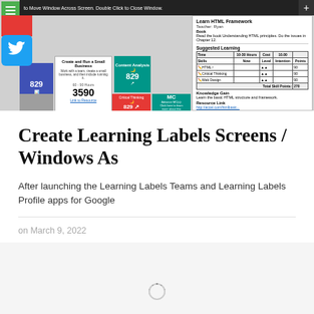[Figure (screenshot): Screenshot of Learning Labels application interface showing various UI cards, a Twitter share button, green menu button, and a detail panel showing HTML Framework learning content with suggested learning table]
Create Learning Labels Screens / Windows As
After launching the Learning Labels Teams and Learning Labels Profile apps for Google
on March 9, 2022